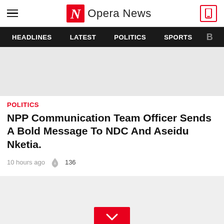Opera News
HEADLINES  LATEST  POLITICS  SPORTS
[Figure (other): Gray advertisement placeholder block]
POLITICS
NPP Communication Team Officer Sends A Bold Message To NDC And Aseidu Nketia.
10 hours ago  136
[Figure (other): Gray advertisement placeholder block with red chevron/down arrow button]